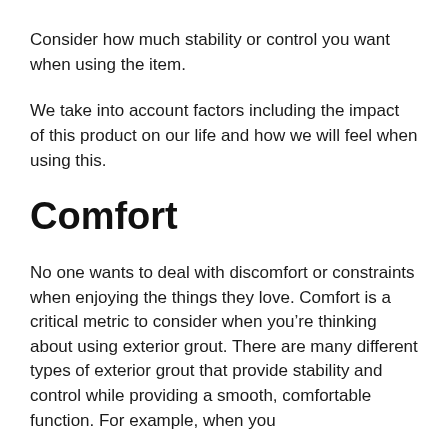Consider how much stability or control you want when using the item.
We take into account factors including the impact of this product on our life and how we will feel when using this.
Comfort
No one wants to deal with discomfort or constraints when enjoying the things they love. Comfort is a critical metric to consider when you’re thinking about using exterior grout. There are many different types of exterior grout that provide stability and control while providing a smooth, comfortable function. For example, when you